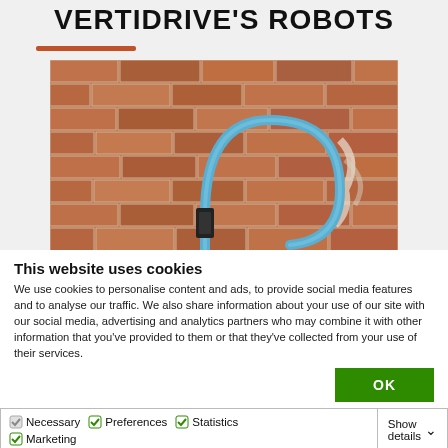VERTIDRIVE'S ROBOTS
[Figure (photo): Photo of a blue hose/cable looped against a brick wall, with a black device attached]
This website uses cookies
We use cookies to personalise content and ads, to provide social media features and to analyse our traffic. We also share information about your use of our site with our social media, advertising and analytics partners who may combine it with other information that you've provided to them or that they've collected from your use of their services.
OK
| Necessary | Preferences | Statistics | Show details |
| Marketing |  |  |  |